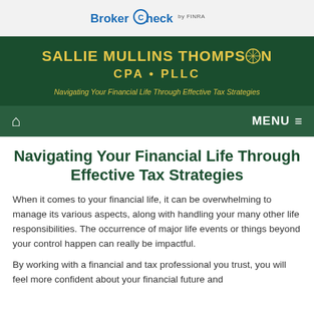BrokerCheck by FINRA
[Figure (logo): Sallie Mullins Thompson CPA PLLC firm banner on dark green background with gold text. Tagline: Navigating Your Financial Life Through Effective Tax Strategies]
Navigating Your Financial Life Through Effective Tax Strategies
When it comes to your financial life, it can be overwhelming to manage its various aspects, along with handling your many other life responsibilities. The occurrence of major life events or things beyond your control happen can really be impactful.
By working with a financial and tax professional you trust, you will feel more confident about your financial future and